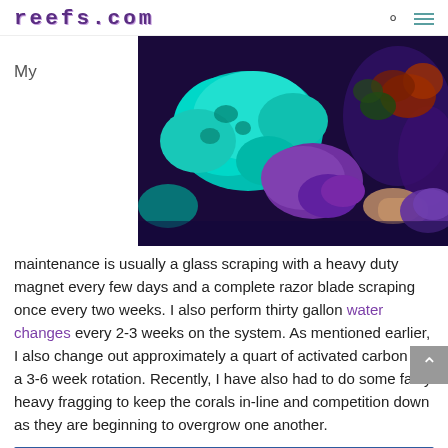reefs.com
My
[Figure (photo): Close-up photo of colorful coral specimens including teal/cyan and purple mushroom corals against a dark reef background with red/orange macro algae]
maintenance is usually a glass scraping with a heavy duty magnet every few days and a complete razor blade scraping once every two weeks. I also perform thirty gallon water changes every 2-3 weeks on the system. As mentioned earlier, I also change out approximately a quart of activated carbon on a 3-6 week rotation. Recently, I have also had to do some fairly heavy fragging to keep the corals in-line and competition down as they are beginning to overgrow one another.
Facebook